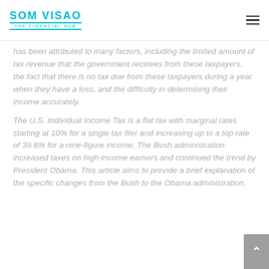SOM VISAO — THE FINANCIAL HUB
has been attributed to many factors, including the limited amount of tax revenue that the government receives from these taxpayers, the fact that there is no tax due from these taxpayers during a year when they have a loss, and the difficulty in determining their income accurately.
The U.S. Individual Income Tax is a flat tax with marginal rates starting at 10% for a single tax filer and increasing up to a top rate of 39.6% for a nine-figure income. The Bush administration increased taxes on high-income earners and continued the trend by President Obama. This article aims to provide a brief explanation of the specific changes from the Bush to the Obama administration.